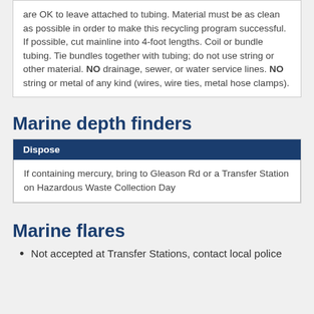are OK to leave attached to tubing. Material must be as clean as possible in order to make this recycling program successful. If possible, cut mainline into 4-foot lengths. Coil or bundle tubing. Tie bundles together with tubing; do not use string or other material. NO drainage, sewer, or water service lines. NO string or metal of any kind (wires, wire ties, metal hose clamps).
Marine depth finders
| Dispose |
| --- |
| If containing mercury, bring to Gleason Rd or a Transfer Station on Hazardous Waste Collection Day |
Marine flares
Not accepted at Transfer Stations, contact local police